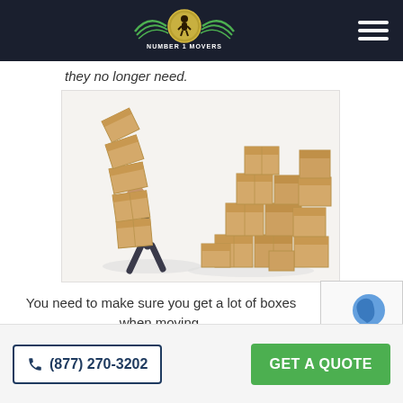Number 1 Movers — navigation header
they no longer need.
[Figure (illustration): A cartoon man bent over carrying a tall stack of cardboard boxes that are tipping, with several piles of cardboard boxes arranged behind him on a white background.]
You need to make sure you get a lot of boxes when moving.
(877) 270-3202
GET A QUOTE